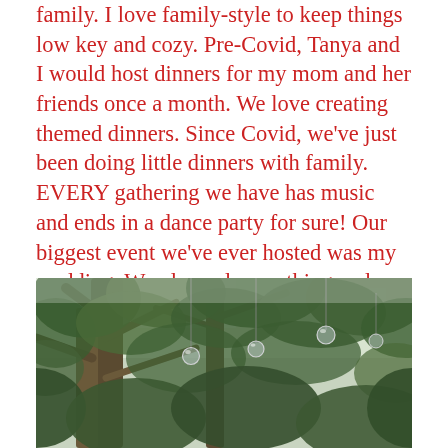family. I love family-style to keep things low key and cozy. Pre-Covid, Tanya and I would host dinners for my mom and her friends once a month. We love creating themed dinners. Since Covid, we've just been doing little dinners with family. EVERY gathering we have has music and ends in a dance party for sure! Our biggest event we've ever hosted was my wedding. We planned everything and decorated ourselves. To this day I'm still surprised we pulled it off.
[Figure (photo): Outdoor photo looking up through large trees with green foliage; string lights and hanging glass globe ornaments visible among the branches; soft natural light, slightly overexposed sky visible through the canopy.]